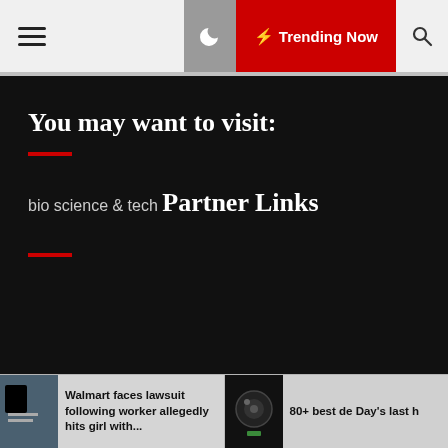☰  🌙  ⚡ Trending Now  🔍
You may want to visit:
bio science & tech
Partner Links
Copyright famsho.com All right reserved Theme: Default Mag by ThemeInWP
Walmart faces lawsuit following worker allegedly hits girl with...
80+ best de Day's last h